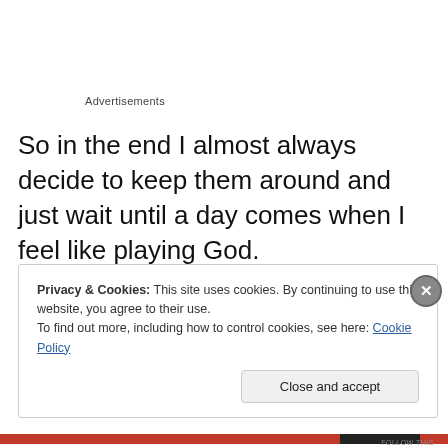Advertisements
So in the end I almost always decide to keep them around and just wait until a day comes when I feel like playing God.
Privacy & Cookies: This site uses cookies. By continuing to use this website, you agree to their use.
To find out more, including how to control cookies, see here: Cookie Policy
Close and accept